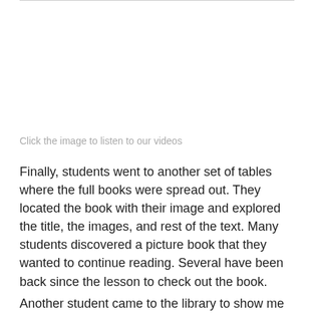Click the image to listen to our videos
Finally, students went to another set of tables where the full books were spread out.  They located the book with their image and explored the title, the images, and rest of the text.  Many students discovered a picture book that they wanted to continue reading.  Several have been back since the lesson to check out the book.
Another student came to the library to show me one of her